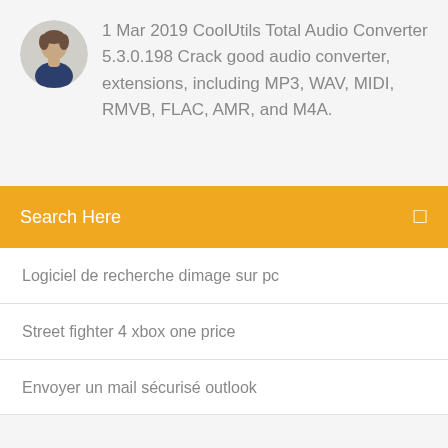[Figure (photo): Circular avatar photo of a man with short hair and dark jacket]
1 Mar 2019 CoolUtils Total Audio Converter 5.3.0.198 Crack good audio converter, extensions, including MP3, WAV, MIDI, RMVB, FLAC, AMR, and M4A.
Search Here
Logiciel de recherche dimage sur pc
Street fighter 4 xbox one price
Envoyer un mail sécurisé outlook